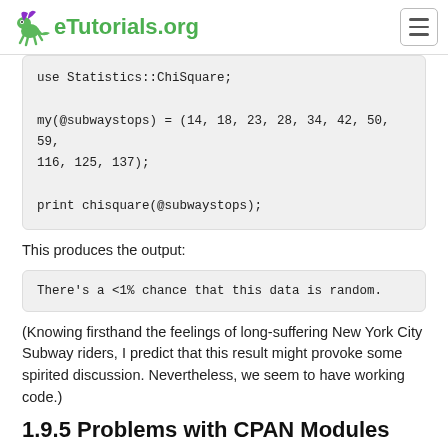eTutorials.org
use Statistics::ChiSquare;

my(@subwaystops) = (14, 18, 23, 28, 34, 42, 50, 59,
116, 125, 137);

print chisquare(@subwaystops);
This produces the output:
There's a <1% chance that this data is random.
(Knowing firsthand the feelings of long-suffering New York City Subway riders, I predict that this result might provoke some spirited discussion. Nevertheless, we seem to have working code.)
1.9.5 Problems with CPAN Modules
Actually, the sharp-eyed reader may have noticed a problem in our mad dash uptown. In the first line of the SYNOPSIS section, there's the following: